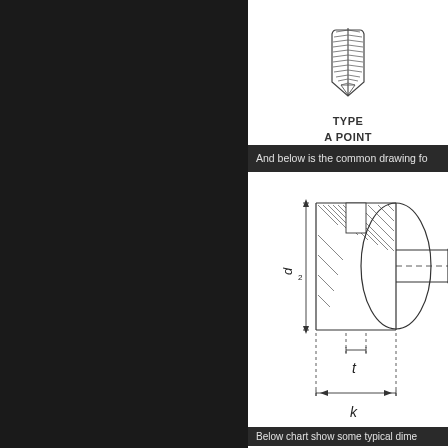[Figure (engineering-diagram): Illustration of a Type A Point screw, showing the threaded tip with self-tapping point profile]
TYPE A POINT
And below is the common drawing fo
[Figure (engineering-diagram): Technical cross-section drawing of a screw head showing dimensions d2 (head diameter), t (slot depth), and k (head height) with dimension lines and hatching]
Below chart show some typical dime
standard dimensions of screw  you